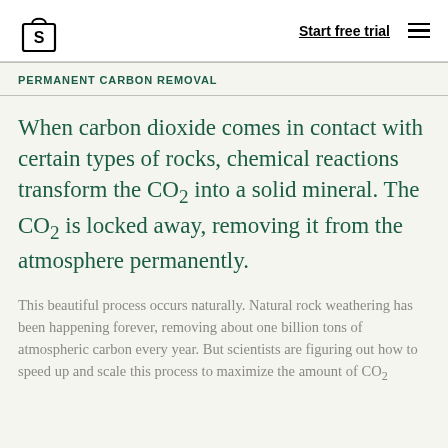Start free trial
PERMANENT CARBON REMOVAL
When carbon dioxide comes in contact with certain types of rocks, chemical reactions transform the CO₂ into a solid mineral. The CO₂ is locked away, removing it from the atmosphere permanently.
This beautiful process occurs naturally. Natural rock weathering has been happening forever, removing about one billion tons of atmospheric carbon every year. But scientists are figuring out how to speed up and scale this process to maximize the amount of CO₂